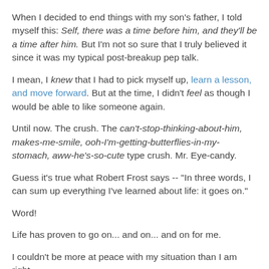When I decided to end things with my son's father, I told myself this: Self, there was a time before him, and they'll be a time after him. But I'm not so sure that I truly believed it since it was my typical post-breakup pep talk.
I mean, I knew that I had to pick myself up, learn a lesson, and move forward. But at the time, I didn't feel as though I would be able to like someone again.
Until now. The crush. The can't-stop-thinking-about-him, makes-me-smile, ooh-I'm-getting-butterflies-in-my-stomach, aww-he's-so-cute type crush. Mr. Eye-candy.
Guess it's true what Robert Frost says -- "In three words, I can sum up everything I've learned about life: it goes on."
Word!
Life has proven to go on... and on... and on for me.
I couldn't be more at peace with my situation than I am right now. I am right